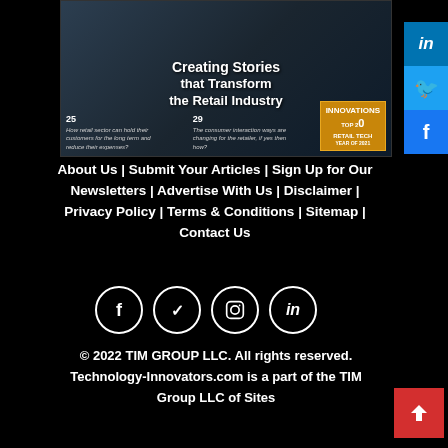[Figure (photo): Magazine cover image: 'Creating Stories that Transform the Retail Industry' with text columns and TOP 20 RETAIL TECH badge]
About Us | Submit Your Articles | Sign Up for Our Newsletters | Advertise With Us | Disclaimer | Privacy Policy | Terms & Conditions | Sitemap | Contact Us
[Figure (other): Social media icons row: Facebook, Twitter, Instagram, LinkedIn circles]
© 2022 TIM GROUP LLC. All rights reserved. Technology-Innovators.com is a part of the TIM Group LLC of Sites